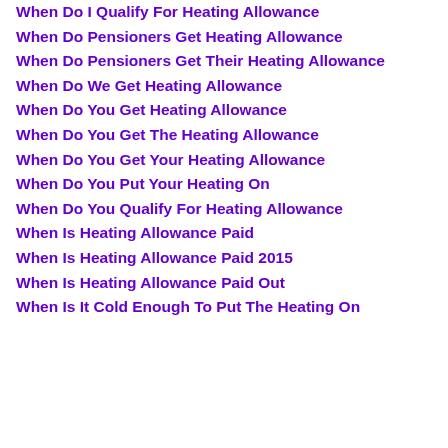When Do I Qualify For Heating Allowance
When Do Pensioners Get Heating Allowance
When Do Pensioners Get Their Heating Allowance
When Do We Get Heating Allowance
When Do You Get Heating Allowance
When Do You Get The Heating Allowance
When Do You Get Your Heating Allowance
When Do You Put Your Heating On
When Do You Qualify For Heating Allowance
When Is Heating Allowance Paid
When Is Heating Allowance Paid 2015
When Is Heating Allowance Paid Out
When Is It Cold Enough To Put The Heating On